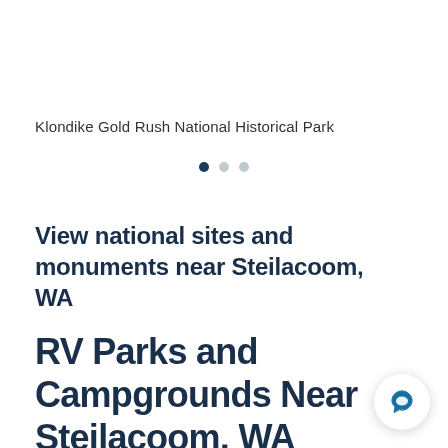Klondike Gold Rush National Historical Park
[Figure (other): Carousel pagination dots: one filled dark dot and two lighter grey dots]
View national sites and monuments near Steilacoom, WA
RV Parks and Campgrounds Near Steilacoom, WA
[Figure (other): Chat button icon — circular white button with a speech bubble icon in blue]